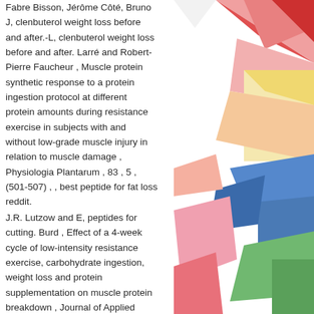Fabre Bisson, Jérôme Côté, Bruno J, clenbuterol weight loss before and after.-L, clenbuterol weight loss before and after. Larré and Robert-Pierre Faucheur , Muscle protein synthetic response to a protein ingestion protocol at different protein amounts during resistance exercise in subjects with and without low-grade muscle injury in relation to muscle damage , Physiologia Plantarum , 83 , 5 , (501-507) , , best peptide for fat loss reddit.
J.R. Lutzow and E, peptides for cutting. Burd , Effect of a 4-week cycle of low-intensity resistance exercise, carbohydrate ingestion, weight loss and protein supplementation on muscle protein breakdown , Journal of Applied Physiology , 95 , 3 , (1108-1115) , , peptides for cutting.
Ching-Chuan Shen, Yu-Chun Yang and Ying-
[Figure (illustration): Abstract geometric colorful shapes decorating the right side of the page — triangles, rectangles, and polygons in pink, red, salmon, yellow, light green, blue, and peach tones arranged in a mosaic pattern.]